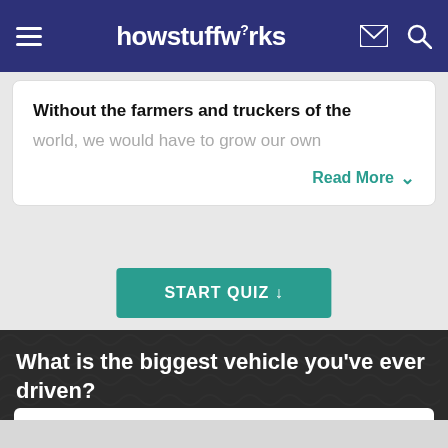howstuffworks
Without the farmers and truckers of the world, we would have to grow our own
Read More
START QUIZ ↓
What is the biggest vehicle you've ever driven?
Tank